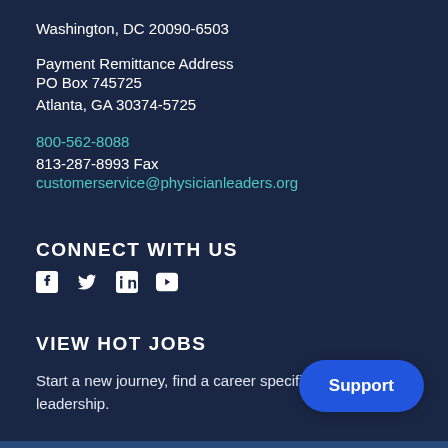Washington, DC 20090-6503
Payment Remittance Address
PO Box 745725
Atlanta, GA 30374-5725
800-562-8088
813-287-8993 Fax
customerservice@physicianleaders.org
CONNECT WITH US
[Figure (other): Social media icons: Facebook, Twitter, LinkedIn, YouTube]
VIEW HOT JOBS
Start a new journey, find a career specific to phy... leadership.
Support